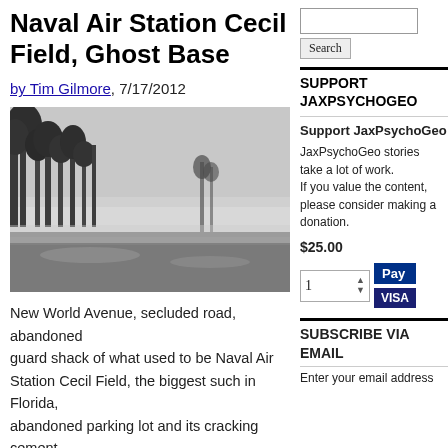Naval Air Station Cecil Field, Ghost Base
by Tim Gilmore, 7/17/2012
[Figure (photo): Misty, foggy outdoor scene showing an abandoned wet parking lot area with tall pine trees in the background shrouded in fog, a grey overcast sky, typical of Naval Air Station Cecil Field.]
New World Avenue, secluded road, abandoned guard shack of what used to be Naval Air Station Cecil Field, the biggest such in Florida, abandoned parking lot and its cracking cement
Support JaxPsychoGeo
JaxPsychoGeo stories take a lot of work. If you value the content, please consider making a donation.
$25.00
SUPPORT JAXPSYCHOGEO
SUBSCRIBE VIA EMAIL
Enter your email address